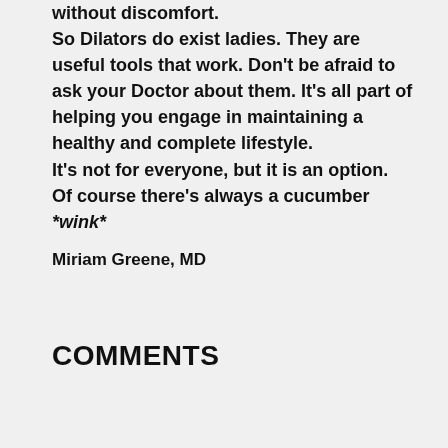without discomfort. So Dilators do exist ladies. They are useful tools that work. Don't be afraid to ask your Doctor about them. It’s all part of helping you engage in maintaining a healthy and complete lifestyle. It’s not for everyone, but it is an option. Of course there's always a cucumber *wink*
Miriam Greene, MD
COMMENTS